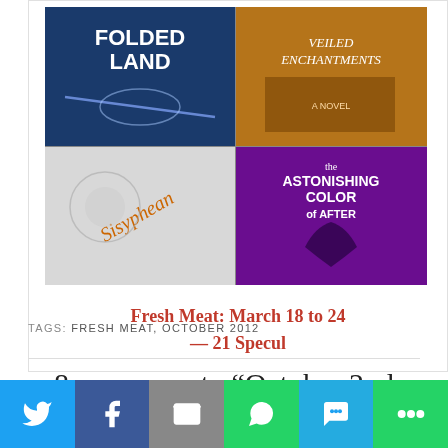[Figure (illustration): A 2x2 grid of book covers: top-left 'Folded Land', top-right 'Veiled Enchantments', bottom-left 'Sisyphean', bottom-right 'The Astonishing Color of After']
Fresh Meat: March 18 to 24 — 21 Specul
TAGS: FRESH MEAT, OCTOBER 2012
8 responses to “October 2nd New
[Figure (infographic): Social sharing bar with Twitter, Facebook, Email, WhatsApp, SMS, and More buttons]